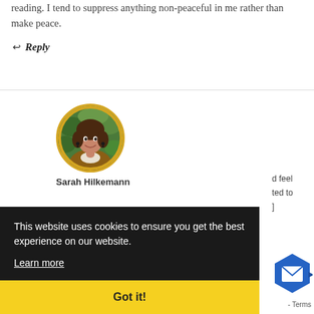reading. I tend to suppress anything non-peaceful in me rather than make peace.
↩ Reply
[Figure (photo): Circular avatar photo of a woman with dark hair smiling, set against a green leafy background, with a golden/yellow circular border]
Sarah Hilkemann
This website uses cookies to ensure you get the best experience on our website. Learn more
Got it!